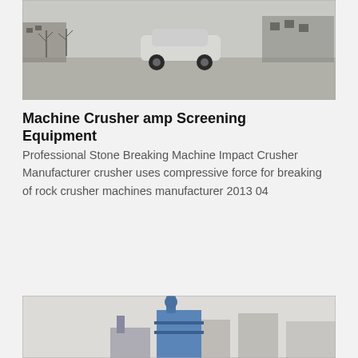[Figure (photo): Outdoor winter scene with a white car parked in a snowy lot, industrial or urban background with bare trees.]
Machine Crusher amp Screening Equipment
Professional Stone Breaking Machine Impact Crusher Manufacturer crusher uses compressive force for breaking of rock crusher machines manufacturer 2013 04
[Figure (photo): Industrial equipment or tower structure, blue colored, against a hazy sky with buildings in background.]